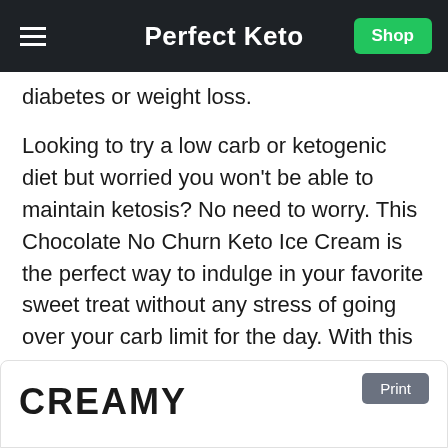Perfect Keto
diabetes or weight loss.
Looking to try a low carb or ketogenic diet but worried you won't be able to maintain ketosis? No need to worry. This Chocolate No Churn Keto Ice Cream is the perfect way to indulge in your favorite sweet treat without any stress of going over your carb limit for the day. With this short list of ingredients, you'll be sure to maintain a ketogenic state while enjoying your favorite frozen dessert.
CREAMY